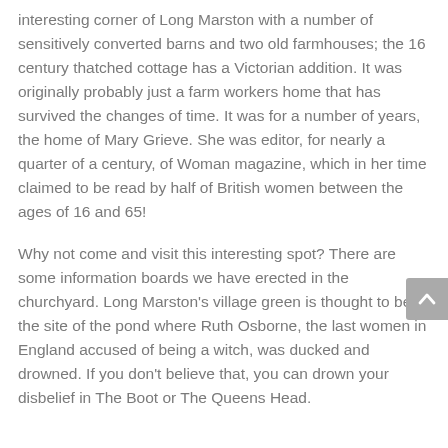interesting corner of Long Marston with a number of sensitively converted barns and two old farmhouses; the 16 century thatched cottage has a Victorian addition. It was originally probably just a farm workers home that has survived the changes of time. It was for a number of years, the home of Mary Grieve. She was editor, for nearly a quarter of a century, of Woman magazine, which in her time claimed to be read by half of British women between the ages of 16 and 65!
Why not come and visit this interesting spot? There are some information boards we have erected in the churchyard. Long Marston's village green is thought to be the site of the pond where Ruth Osborne, the last women in England accused of being a witch, was ducked and drowned. If you don't believe that, you can drown your disbelief in The Boot or The Queens Head.